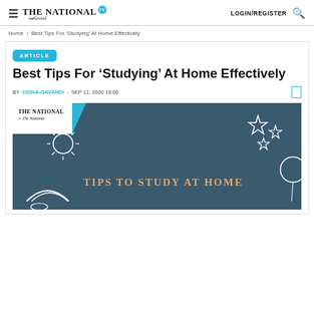The National TV | LOGIN/REGISTER
Home > Best Tips For 'Studying' At Home Effectively
ARTICLE
Best Tips For 'Studying' At Home Effectively
BY DISHA-GAVANDI - SEP 11, 2020 18:06
[Figure (illustration): Chalkboard-style infographic with chalk drawings of stars, circles, balloons, and a rainbow. Text reads 'TIPS TO STUDY AT HOME' in decorative font. The National logo appears in top left corner with a blue triangle accent.]